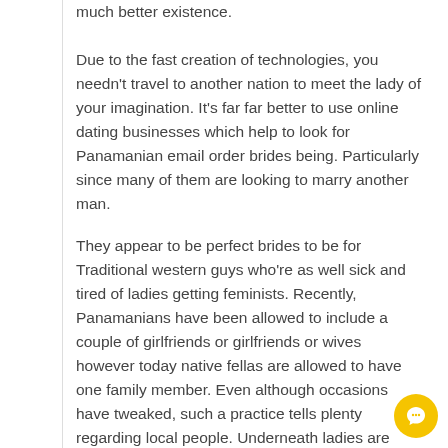much better existence. Due to the fast creation of technologies, you needn't travel to another nation to meet the lady of your imagination. It's far far better to use online dating businesses which help to look for Panamanian email order brides being. Particularly since many of them are looking to marry another man.
They appear to be perfect brides to be for Traditional western guys who're as well sick and tired of ladies getting feminists. Recently, Panamanians have been allowed to include a couple of girlfriends or girlfriends or wives however today native fellas are allowed to have one family member. Even although occasions have tweaked, such a practice tells plenty regarding local people. Underneath ladies are taught to respect and comply with guys while fellas really feel just like they can and naturally will dominate more than